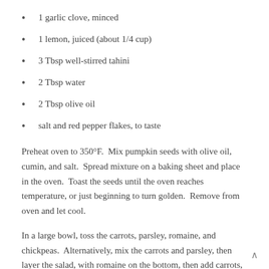1 garlic clove, minced
1 lemon, juiced (about 1/4 cup)
3 Tbsp well-stirred tahini
2 Tbsp water
2 Tbsp olive oil
salt and red pepper flakes, to taste
Preheat oven to 350°F.  Mix pumpkin seeds with olive oil, cumin, and salt.  Spread mixture on a baking sheet and place in the oven.  Toast the seeds until the oven reaches temperature, or just beginning to turn golden.  Remove from oven and let cool.
In a large bowl, toss the carrots, parsley, romaine, and chickpeas.  Alternatively, mix the carrots and parsley, then layer the salad, with romaine on the bottom, then add carrots,